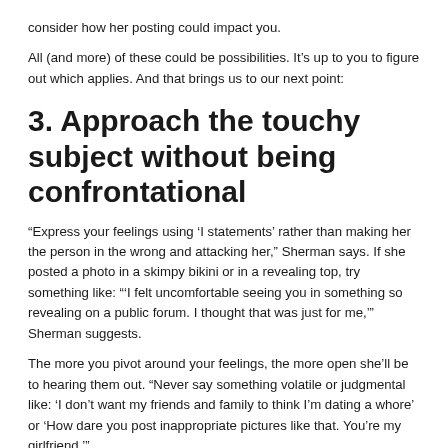consider how her posting could impact you.
All (and more) of these could be possibilities. It’s up to you to figure out which applies. And that brings us to our next point:
3. Approach the touchy subject without being confrontational
“Express your feelings using ‘I statements’ rather than making her the person in the wrong and attacking her,” Sherman says. If she posted a photo in a skimpy bikini or in a revealing top, try something like: “‘I felt uncomfortable seeing you in something so revealing on a public forum. I thought that was just for me,’” Sherman suggests.
The more you pivot around your feelings, the more open she’ll be to hearing them out. “Never say something volatile or judgmental like: ‘I don’t want my friends and family to think I’m dating a whore’ or ‘How dare you post inappropriate pictures like that. You’re my girlfriend.’”